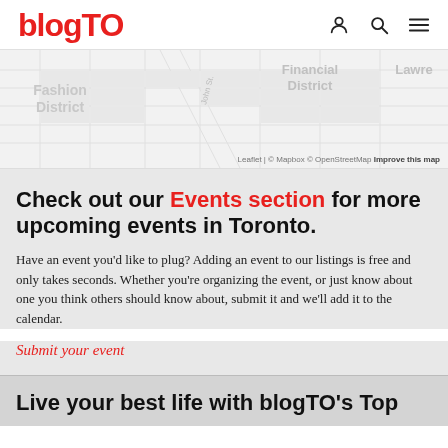blogTO
[Figure (map): Street map showing Fashion District, Financial District, and Lawrence areas of Toronto with grid streets. Attribution: Leaflet | © Mapbox © OpenStreetMap Improve this map]
Check out our Events section for more upcoming events in Toronto.
Have an event you'd like to plug? Adding an event to our listings is free and only takes seconds. Whether you're organizing the event, or just know about one you think others should know about, submit it and we'll add it to the calendar.
Submit your event
Live your best life with blogTO's Top